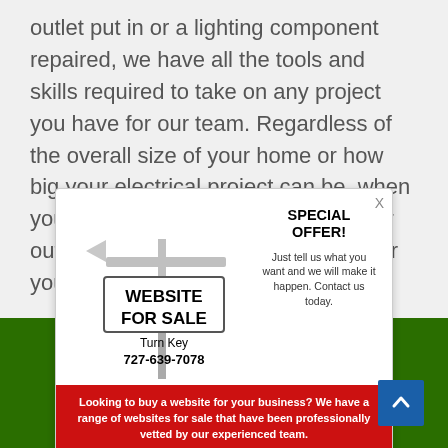outlet put in or a lighting component repaired, we have all the tools and skills required to take on any project you have for our team. Regardless of the overall size of your home or how big your electrical project can be, when you choose us, you'll benefit from our outstanding services, modified just for you!
[Figure (infographic): A popup advertisement showing a real-estate-style sign reading 'WEBSITE FOR SALE', 'Turn Key', '727-639-7078', with a 'SPECIAL OFFER!' panel on the right side and a red footer saying 'Looking to buy a website for your business? We have a range of websites for sale that have been professionally vetted by our experienced team.' A close (X) button is in the top right corner.]